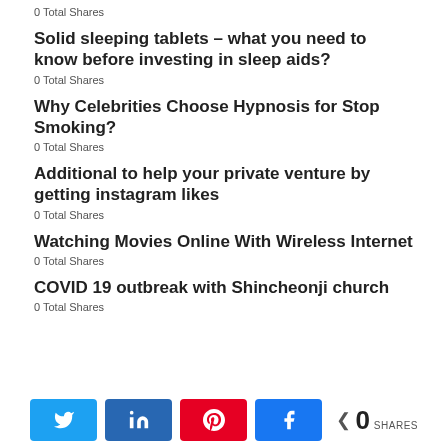0 Total Shares
Solid sleeping tablets – what you need to know before investing in sleep aids?
0 Total Shares
Why Celebrities Choose Hypnosis for Stop Smoking?
0 Total Shares
Additional to help your private venture by getting instagram likes
0 Total Shares
Watching Movies Online With Wireless Internet
0 Total Shares
COVID 19 outbreak with Shincheonji church
0 Total Shares
[Figure (infographic): Social share buttons row: Twitter (blue), LinkedIn (dark blue), Pinterest (red), Facebook (blue), and total share count showing 0 SHARES]